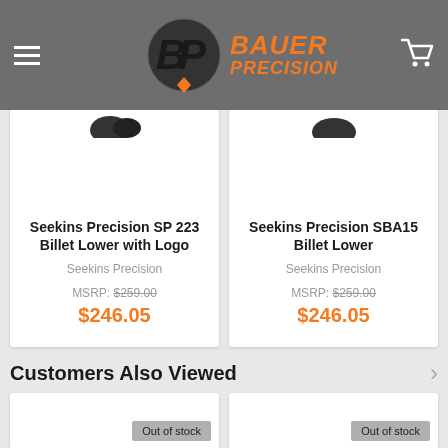Bauer Precision
Seekins Precision SP 223 Billet Lower with Logo
Seekins Precision
MSRP: $259.00
$246.05
Seekins Precision SBA15 Billet Lower
Seekins Precision
MSRP: $259.00
$246.05
Customers Also Viewed
Out of stock
Out of stock